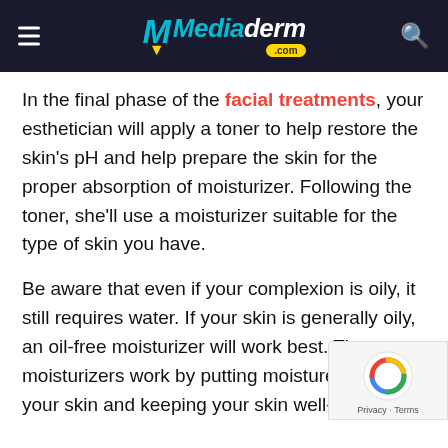Mediaderm.com
In the final phase of the facial treatments, your esthetician will apply a toner to help restore the skin's pH and help prepare the skin for the proper absorption of moisturizer. Following the toner, she'll use a moisturizer suitable for the type of skin you have.
Be aware that even if your complexion is oily, it still requires water. If your skin is generally oily, an oil-free moisturizer will work best. The moisturizers work by putting moisture back into your skin and keeping your skin well-hydrated.